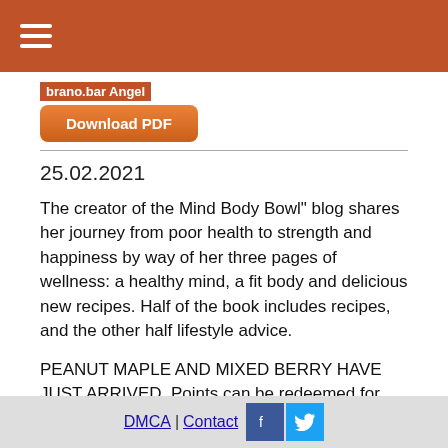Navigation bar with hamburger menu
brano.bar Angel
Download PDF
25.02.2021
The creator of the Mind Body Bowl" blog shares her journey from poor health to strength and happiness by way of her three pages of wellness: a healthy mind, a fit body and delicious new recipes. Half of the book includes recipes, and the other half lifestyle advice.
PEANUT MAPLE AND MIXED BERRY HAVE JUST ARRIVED. Points can be redeemed for rewards from dollar rewards to services. Offering a more rewarding. Yin Yoga with Annie Clarke supported by Shanti Sundays
DMCA | Contact